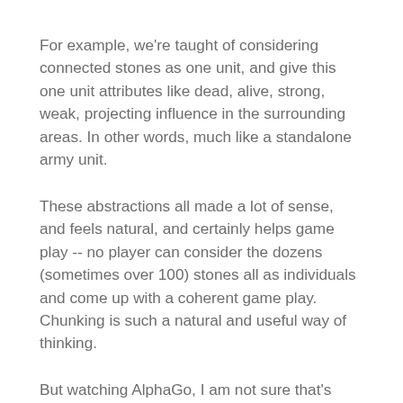For example, we're taught of considering connected stones as one unit, and give this one unit attributes like dead, alive, strong, weak, projecting influence in the surrounding areas. In other words, much like a standalone army unit.
These abstractions all made a lot of sense, and feels natural, and certainly helps game play -- no player can consider the dozens (sometimes over 100) stones all as individuals and come up with a coherent game play. Chunking is such a natural and useful way of thinking.
But watching AlphaGo, I am not sure that's how it thinks of the game. Maybe it simply doesn't do chunking at all, or maybe it does chunking its own way, not influenced by the physical world as we humans invariably do. AlphaGo's moves are sometimes strange, and couldn't be explained by the way humans chunk the game.